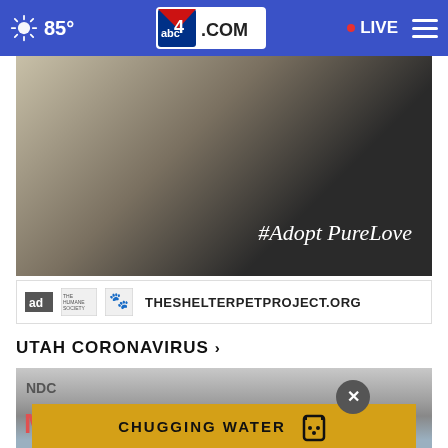85° abc4.com LIVE
[Figure (photo): Man with tabby cat near window, #AdoptPureLove campaign photo for TheShelterPetProject.org]
THESHELTERPETPROJECT.ORG
UTAH CORONAVIRUS ›
[Figure (screenshot): Video thumbnail showing water bottle (Motrin/NDC product), with CHUGGING WATER overlay banner and close X button]